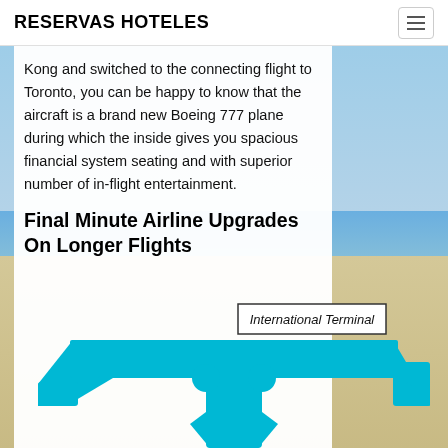RESERVAS HOTELES
Kong and switched to the connecting flight to Toronto, you can be happy to know that the aircraft is a brand new Boeing 777 plane during which the inside gives you spacious financial system seating and with superior number of in-flight entertainment.
Final Minute Airline Upgrades On Longer Flights
[Figure (illustration): Blue airport terminal diagram (top-down view) showing an international terminal layout with a label box reading 'International Terminal'. The terminal is shown in cyan/blue color with a Y-shaped or cross-shaped concourse structure.]